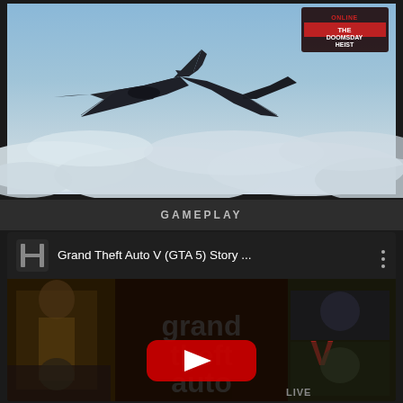[Figure (screenshot): GTA Online Doomsday Heist promotional screenshot showing a dark stealth jet aircraft flying above clouds with the GTA Online Doomsday Heist logo in the top-right corner]
GAMEPLAY
[Figure (screenshot): YouTube video card thumbnail showing Grand Theft Auto V (GTA 5) Story Mode gameplay video with the GTA V game cover art featuring multiple characters, a large YouTube play button overlay, and a channel icon in the header]